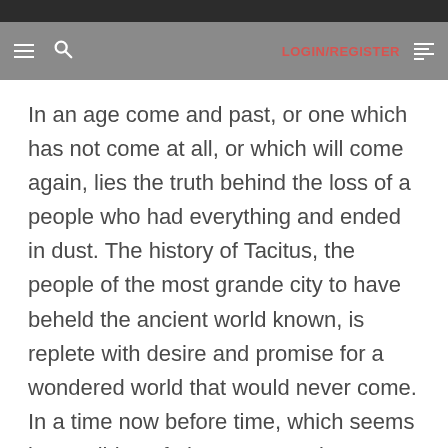LOGIN/REGISTER
In an age come and past, or one which has not come at all, or which will come again, lies the truth behind the loss of a people who had everything and ended in dust. The history of Tacitus, the people of the most grande city to have beheld the ancient world known, is replete with desire and promise for a wondered world that would never come. In a time now before time, which seems impossible to fathom as no written record can go back nearly as far as when the ancient people of Tacitus lived.